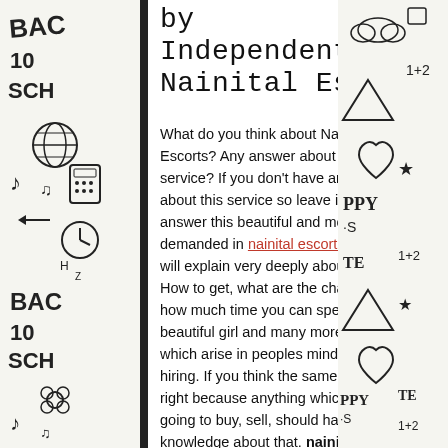[Figure (illustration): Left doodle border with school/back-to-school themed hand-drawn illustrations including calculators, globes, music notes, clocks, pencils, 'BACK', '10', 'SCHO' text fragments repeated vertically]
[Figure (illustration): Right doodle border with school/back-to-school themed hand-drawn illustrations including hearts, triangles, stars, '1+2', 'PPY', 'S', 'TE' text fragments repeated vertically]
by
Independent Nainital Escor
What do you think about Nainital Escorts? Any answer about this beautiful service? If you don't have an answer about this service so leave it. We will answer this beautiful and most demanded in nainital escort service. We will explain very deeply about this like How to get, what are the charges of it, how much time you can spend with the beautiful girl and many more questions which arise in peoples mind before hiring. If you think the same then you are right because anything which you are going to buy, sell, should have complete knowledge about that. nainital escort service is a kind of service where a customer